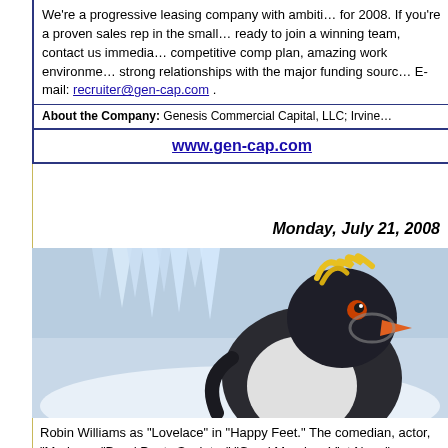We're a progressive leasing company with ambitions for 2008. If you're a proven sales rep in the small ticket leasing arena and are ready to join a winning team, contact us immediately. We offer a competitive comp plan, amazing work environment and have developed strong relationships with the major funding sources in our industry. E-mail: recruiter@gen-cap.com .
About the Company: Genesis Commercial Capital, LLC; Irvine...
www.gen-cap.com
Monday, July 21, 2008
[Figure (photo): Robin Williams as 'Lovelace' the penguin character in Happy Feet animated movie, showing a close-up of a large animated penguin with yellow feathers on head, orange beak, against a snowy icy background]
Robin Williams as “Lovelace” in “Happy Feet.” The comedian, actor, “Mork a…” “Dead Poets Society, ” “Good Morning, Viet Nam,” was born July 21, 1952, with roommate Christopher Reeve, Williams has taken risks and shown ran… Oscar for “Good Will Hunting” (1997, with Matt Damon & Ben Affleck). He h… Screen Actors Awards, a Grammy Award, and is a long time World Wide We… http://en.wikipedia.org/wiki/Robin_Williams